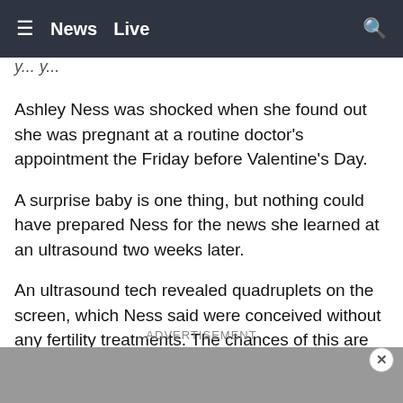≡  News  Live  🔍
Ashley Ness was shocked when she found out she was pregnant at a routine doctor's appointment the Friday before Valentine's Day.
A surprise baby is one thing, but nothing could have prepared Ness for the news she learned at an ultrasound two weeks later.
An ultrasound tech revealed quadruplets on the screen, which Ness said were conceived without any fertility treatments. The chances of this are about one in a million.
ADVERTISEMENT